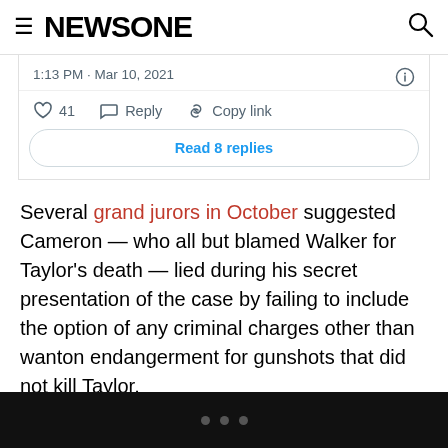NEWSONE
[Figure (screenshot): Embedded tweet showing timestamp '1:13 PM · Mar 10, 2021' with like (41), reply, copy link actions and a 'Read 8 replies' button]
Several grand jurors in October suggested Cameron — who all but blamed Walker for Taylor's death — lied during his secret presentation of the case by failing to include the option of any criminal charges other than wanton endangerment for gunshots that did not kill Taylor.
Until Freedom has a host of events lined up to commemorate Taylor's life this weekend on the